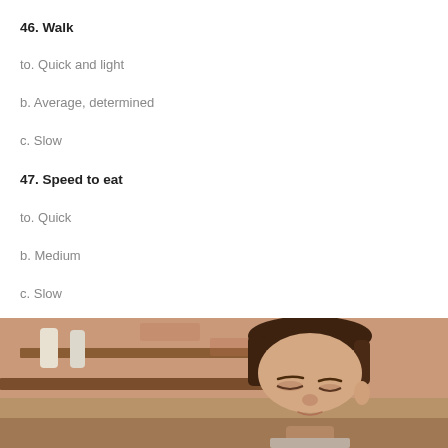46. Walk
to. Quick and light
b. Average, determined
c. Slow
47. Speed to eat
to. Quick
b. Medium
c. Slow
[Figure (photo): A young man with hair pulled back, eyes downcast, in a kitchen/restaurant setting with brick wall and shelves in background.]